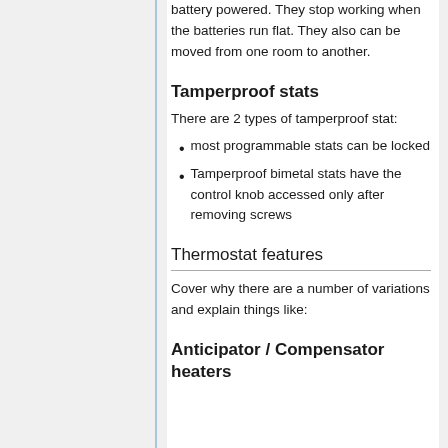battery powered. They stop working when the batteries run flat. They also can be moved from one room to another.
Tamperproof stats
There are 2 types of tamperproof stat:
most programmable stats can be locked
Tamperproof bimetal stats have the control knob accessed only after removing screws
Thermostat features
Cover why there are a number of variations and explain things like:
Anticipator / Compensator heaters